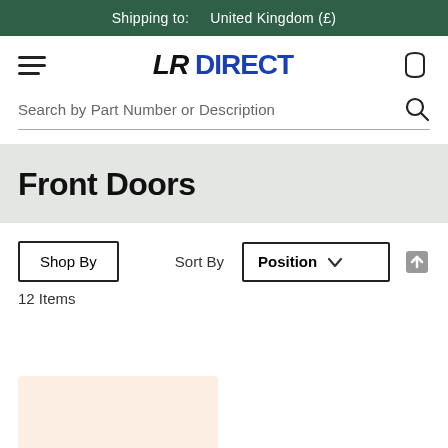Shipping to:    United Kingdom (£)
[Figure (logo): LR Direct logo with hamburger menu and cart icon in navigation bar]
Search by Part Number or Description
Front Doors
Shop By   Sort By  Position
12 Items